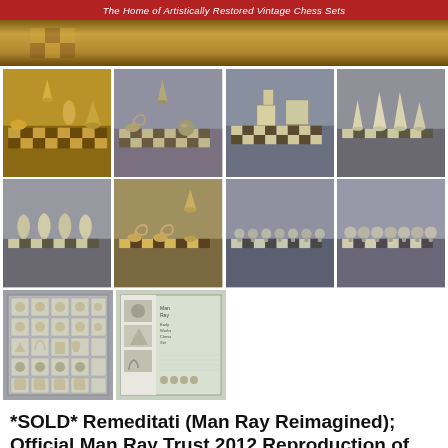The Home of Artistically Restored Vintage Chess Sets
[Figure (photo): Wide banner image of a wooden chess board with Man Ray chess pieces, warm brown tones]
[Figure (photo): Close-up of Man Ray chess pieces including cone, spiral, and sphere shapes on checkered board]
[Figure (photo): Man Ray chess pieces on checkered board, cone and spiral visible]
[Figure (photo): White/cream Man Ray chess pieces including rectangular block shapes on board]
[Figure (photo): Man Ray chess pieces, cones and abstract shapes in light tones on board]
[Figure (photo): Man Ray chess pieces, vase/bottle shapes on checkered board]
[Figure (photo): Man Ray chess pieces, double spiral shapes on checkered board]
[Figure (photo): Man Ray chess pawns, spherical shapes in a row on board]
[Figure (photo): Man Ray chess pawns, spherical shapes in a row on board, slightly different angle]
[Figure (photo): All Man Ray chess pieces laid out in storage/display case]
[Figure (photo): Man Ray chess set official book/catalog cover with chess pieces imagery]
*SOLD* Remeditati (Man Ray Reimagined); Official Man Ray Trust 2012 Reproduction of